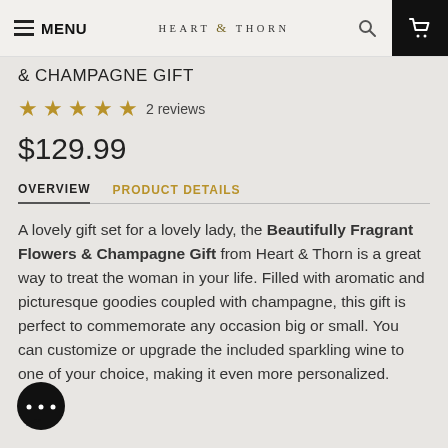MENU  HEART & THORN
& CHAMPAGNE GIFT
2 reviews
$129.99
OVERVIEW  PRODUCT DETAILS
A lovely gift set for a lovely lady, the Beautifully Fragrant Flowers & Champagne Gift from Heart & Thorn is a great way to treat the woman in your life. Filled with aromatic and picturesque goodies coupled with champagne, this gift is perfect to commemorate any occasion big or small. You can customize or upgrade the included sparkling wine to one of your choice, making it even more personalized.